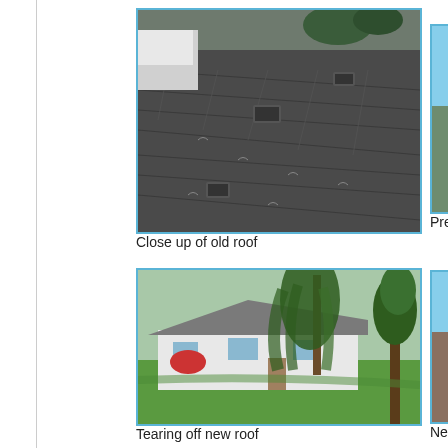[Figure (photo): Close up aerial view of an old residential roof with worn dark shingles and roof vents visible]
Close up of old roof
[Figure (photo): Front view of a single-story residential house with trees in the foreground and lawn, showing old roof in process of being torn off]
Tearing off new roof
[Figure (photo): Partial view of preparation work on roof (cropped, right side of page)]
Prepar
[Figure (photo): Partial view of new roof installation (cropped, right side of page)]
New ro